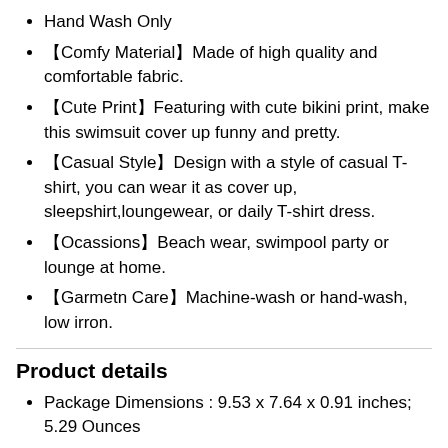Hand Wash Only
【Comfy Material】Made of high quality and comfortable fabric.
【Cute Print】Featuring with cute bikini print, make this swimsuit cover up funny and pretty.
【Casual Style】Design with a style of casual T-shirt, you can wear it as cover up, sleepshirt,loungewear, or daily T-shirt dress.
【Ocassions】Beach wear, swimpool party or lounge at home.
【Garmetn Care】Machine-wash or hand-wash, low irron.
Product details
Package Dimensions : 9.53 x 7.64 x 0.91 inches; 5.29 Ounces
Department : Womens
Date First Available : November 6, 2019